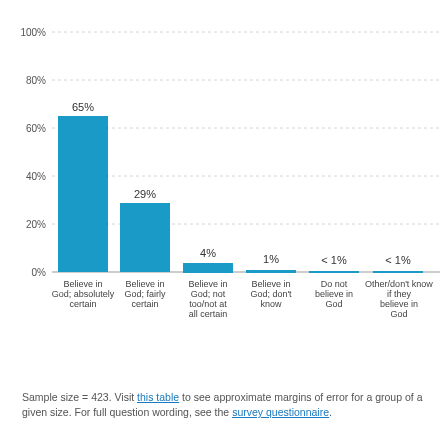[Figure (bar-chart): ]
Sample size = 423. Visit this table to see approximate margins of error for a group of a given size. For full question wording, see the survey questionnaire.